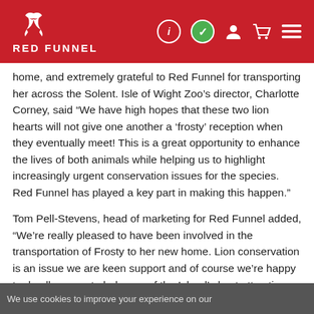Red Funnel — website header with logo and navigation icons
home, and extremely grateful to Red Funnel for transporting her across the Solent. Isle of Wight Zoo’s director, Charlotte Corney, said “We have high hopes that these two lion hearts will not give one another a ‘frosty’ reception when they eventually meet! This is a great opportunity to enhance the lives of both animals while helping us to highlight increasingly urgent conservation issues for the species. Red Funnel has played a key part in making this happen.”
Tom Pell-Stevens, head of marketing for Red Funnel added, “We’re really pleased to have been involved in the transportation of Frosty to her new home. Lion conservation is an issue we are keen support and of course we’re happy to do all we can to help one of the Island’s best attractions, the Isle of Wight Zoo.”
The Isle of Wight Zoo is open daily between 10am and 4pm from Friday 16 February. For further information visit www.isleofwightzoo.com
We use cookies to improve your experience on our